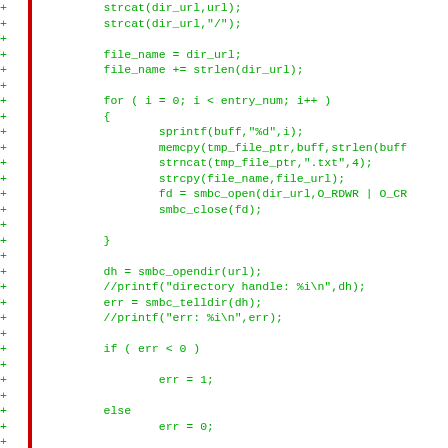[Figure (screenshot): Code diff snippet showing C code additions (green lines with + prefix) including strcat, file_name assignments, a for loop with sprintf/memcpy/strncat/strcpy/smbc_open/smbc_close calls, smbc_opendir, smbc_telldir, printf comments, conditional err assignments, closing brace, and return err statement.]